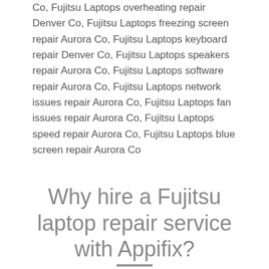Co, Fujitsu Laptops overheating repair Denver Co, Fujitsu Laptops freezing screen repair Aurora Co, Fujitsu Laptops keyboard repair Denver Co, Fujitsu Laptops speakers repair Aurora Co, Fujitsu Laptops software repair Aurora Co, Fujitsu Laptops network issues repair Aurora Co, Fujitsu Laptops fan issues repair Aurora Co, Fujitsu Laptops speed repair Aurora Co, Fujitsu Laptops blue screen repair Aurora Co
Why hire a Fujitsu laptop repair service with Appifix?